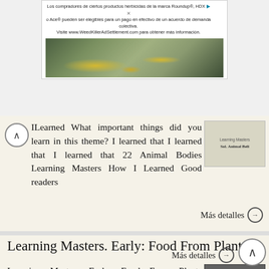[Figure (illustration): Advertisement banner for WeedKillerAdSettlement.com with stone pathway and yellow flowers image]
ILearned What important things did you learn in this theme? I learned that I learned that I learned that 22 Animal Bodies Learning Masters How I Learned Good readers
Más detalles →
Learning Masters. Early: Food From Plants
Learning Masters Early: Food From Plants WhatILearned What important things did you learn in this theme? I learned that I learned that I learned that 22 Food From Plants Learning Masters How I Learned
Más detalles →